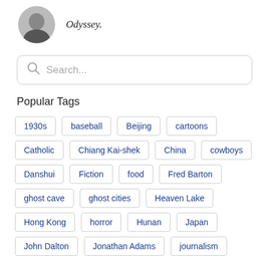Odyssey.
Search...
Popular Tags
1930s
baseball
Beijing
cartoons
Catholic
Chiang Kai-shek
China
cowboys
Danshui
Fiction
food
Fred Barton
ghost cave
ghost cities
Heaven Lake
Hong Kong
horror
Hunan
Japan
John Dalton
Jonathan Adams
journalism